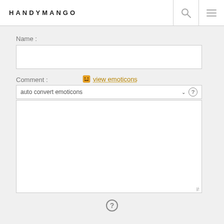HANDYMANGO
Name :
Comment :
view emoticons
auto convert emoticons